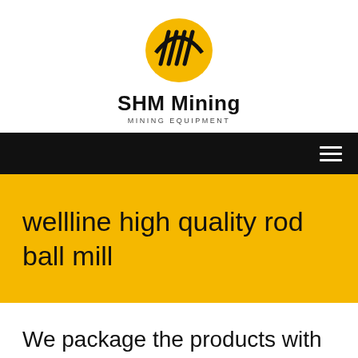[Figure (logo): SHM Mining logo: yellow oval with black diagonal stripes, above text 'SHM Mining' and 'MINING EQUIPMENT']
SHM Mining
MINING EQUIPMENT
wellline high quality rod ball mill
We package the products with best services to make you a happy